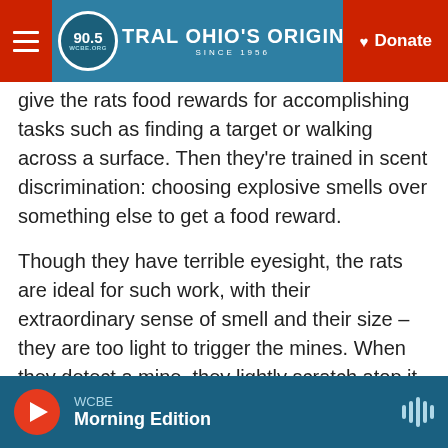90.5 WCBE — CENTRAL OHIO'S ORIGINAL NPR STATION SINCE 1956 — Donate
give the rats food rewards for accomplishing tasks such as finding a target or walking across a surface. Then they're trained in scent discrimination: choosing explosive smells over something else to get a food reward.
Though they have terrible eyesight, the rats are ideal for such work, with their extraordinary sense of smell and their size – they are too light to trigger the mines. When they detect a mine, they lightly scratch atop it, signaling to their handler what they've found.
Their reward: a banana.
WCBE — Morning Edition